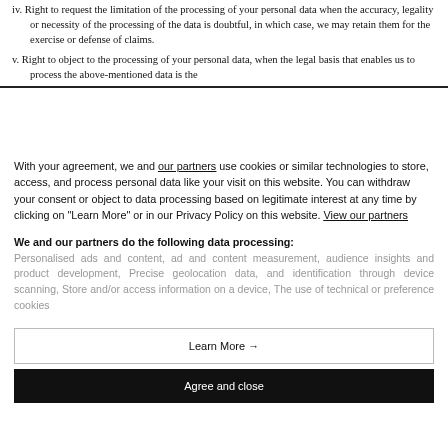iv. Right to request the limitation of the processing of your personal data when the accuracy, legality or necessity of the processing of the data is doubtful, in which case, we may retain them for the exercise or defense of claims.
v. Right to object to the processing of your personal data, when the legal basis that enables us to process the above-mentioned data is the
With your agreement, we and our partners use cookies or similar technologies to store, access, and process personal data like your visit on this website. You can withdraw your consent or object to data processing based on legitimate interest at any time by clicking on "Learn More" or in our Privacy Policy on this website. View our partners
We and our partners do the following data processing:
Personalised ads and content, ad and content measurement, audience insights and product development, Precise geolocation data, and identification through device scanning, Store and/or access information on a device, The use of technical or preference cookies
Learn More →
Agree and close